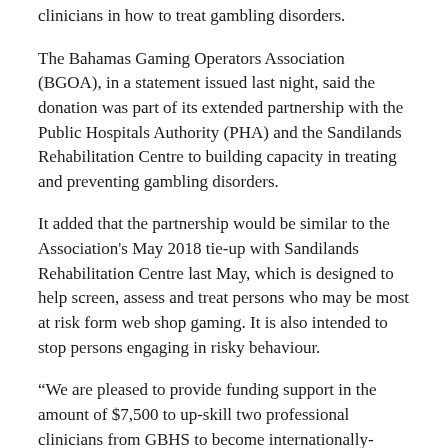clinicians in how to treat gambling disorders.
The Bahamas Gaming Operators Association (BGOA), in a statement issued last night, said the donation was part of its extended partnership with the Public Hospitals Authority (PHA) and the Sandilands Rehabilitation Centre to building capacity in treating and preventing gambling disorders.
It added that the partnership would be similar to the Association's May 2018 tie-up with Sandilands Rehabilitation Centre last May, which is designed to help screen, assess and treat persons who may be most at risk form web shop gaming. It is also intended to stop persons engaging in risky behaviour.
“We are pleased to provide funding support in the amount of $7,500 to up-skill two professional clinicians from GBHS to become internationally-certified in the area of treating persons with a gambling disorder,” the association said.
“The course will be done through the University of